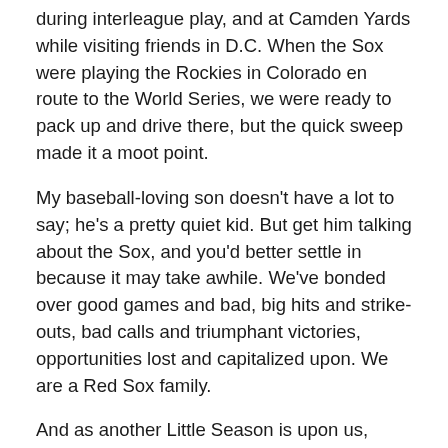during interleague play, and at Camden Yards while visiting friends in D.C. When the Sox were playing the Rockies in Colorado en route to the World Series, we were ready to pack up and drive there, but the quick sweep made it a moot point.
My baseball-loving son doesn't have a lot to say; he's a pretty quiet kid. But get him talking about the Sox, and you'd better settle in because it may take awhile. We've bonded over good games and bad, big hits and strike-outs, bad calls and triumphant victories, opportunities lost and capitalized upon. We are a Red Sox family.
And as another Little Season is upon us, Payton, the biggest Sox fan of all, just got drafted by the Yankees. Worst. Thing. Ever. (in his mind, anyway.) This happened once before, a few seasons back, and he was pretty